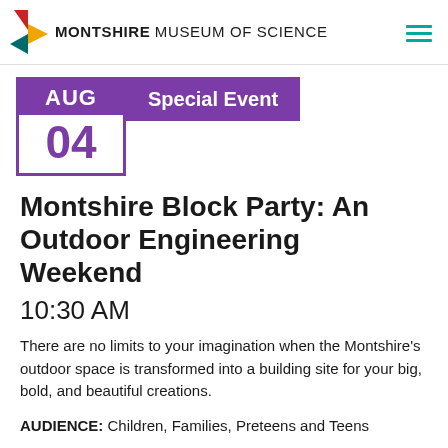MONTSHIRE MUSEUM OF SCIENCE
AUG 04 Special Event
Montshire Block Party: An Outdoor Engineering Weekend
10:30 AM
There are no limits to your imagination when the Montshire's outdoor space is transformed into a building site for your big, bold, and beautiful creations.
AUDIENCE: Children, Families, Preteens and Teens
COST: Free with Museum Admissio...